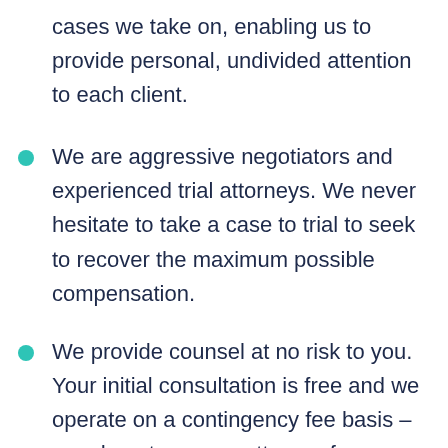cases we take on, enabling us to provide personal, undivided attention to each client.
We are aggressive negotiators and experienced trial attorneys. We never hesitate to take a case to trial to seek to recover the maximum possible compensation.
We provide counsel at no risk to you. Your initial consultation is free and we operate on a contingency fee basis – you do not pay any attorney fees unless we win your case.